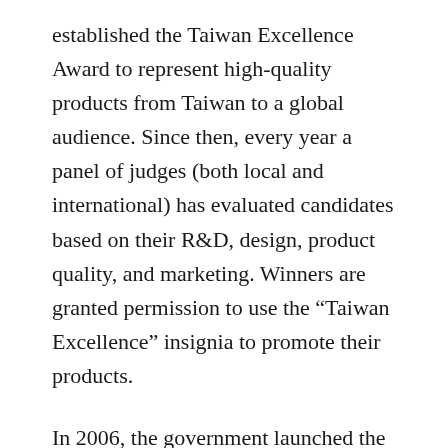established the Taiwan Excellence Award to represent high-quality products from Taiwan to a global audience. Since then, every year a panel of judges (both local and international) has evaluated candidates based on their R&D, design, product quality, and marketing. Winners are granted permission to use the “Taiwan Excellence” insignia to promote their products.
In 2006, the government launched the US$61 million “Branding Taiwan Plan,” a seven-year program aimed at raising the global profile of rising small and medium enterprises (SMEs). When the program was launched, Huang Chih-Peng, then director-general of Taiwan’s Bureau of Foreign Trade (BOFT) under the